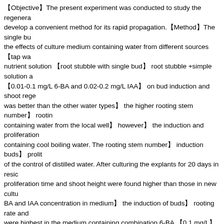【Objective】The present experiment was conducted to study the regeneration system and develop a convenient method for its rapid propagation.【Method】The single bud ... the effects of culture medium containing water from different sources 【tap water、well water、nutrient solution 【root stubble with single bud】 root stubble +simple solution and hormone 【0.01-0.1 mg/L 6-BA and 0.02-0.2 mg/L IAA】 on bud induction and shoot regeneration ... was better than the other water types】 the higher rooting stem number】 rooting ... containing water from the local well】 however】 the induction and proliferation ... containing cool boiling water. The rooting stem number】 induction buds】 prolit... of the control of distilled water. After culturing the explants for 20 days in resid... proliferation time and shoot height were found higher than those in new cultu... BA and IAA concentration in medium】 the induction of buds】 rooting rate and ... were highest in the medium containing combination 6-BA 【0.1 mg/L】 and IAA ... well water or cool boiling water may be used as a substitute of distilled water ... culture explants by adding simple solution 【MS without hormone】. Lower con... the buds and regeneration of shoot derived from virus-free plantlet of Humulu...
关键词
中图分类
文献标识码